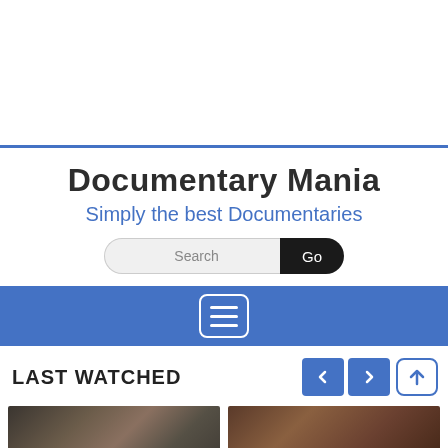[Figure (screenshot): Top white empty header area with a blue horizontal border line at the bottom]
Documentary Mania
Simply the best Documentaries
[Figure (other): Search bar with text 'Search' and a dark rounded 'Go' button]
[Figure (other): Blue navigation bar with a hamburger menu button (three lines) in center]
LAST WATCHED
[Figure (other): Navigation arrows (left and right) in blue squares, and a scroll-up button]
[Figure (photo): Thumbnail image for 'The Lost Tribes' documentary - dark textured image with white title text]
[Figure (photo): Thumbnail image for a second documentary - dark brown textured image]